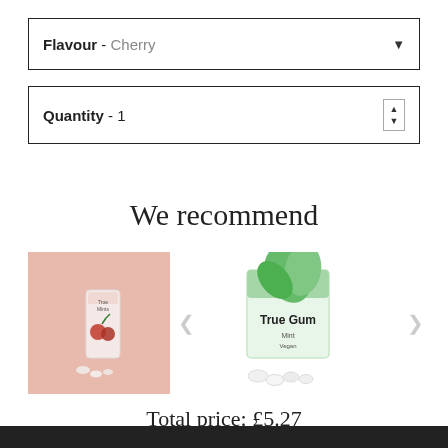Flavour - Cherry
Quantity - 1
We recommend
[Figure (photo): True Mints cherry product on pink background]
[Figure (photo): True Gum mint product on white background]
Total price: £5.27